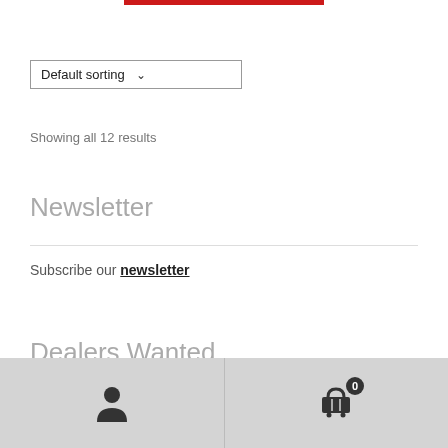[Figure (other): Red horizontal bar at top center of page]
Default sorting ▾
Showing all 12 results
Newsletter
Subscribe our newsletter
Dealers Wanted
Person icon and cart icon with badge showing 0